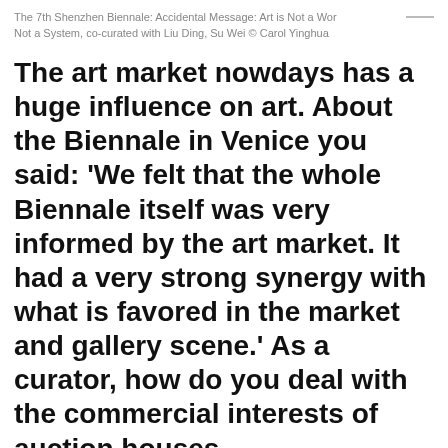The 7th Shenzhen Biennale: Accidental Message: Art is Not a World, Not a System, co-curated with Liu Ding, Su Wei © Carol Yinghua
The art market nowdays has a huge influence on art. About the Biennale in Venice you said: 'We felt that the whole Biennale itself was very informed by the art market. It had a very strong synergy with what is favored in the market and gallery scene.' As a curator, how do you deal with the commercial interests of auction houses,
We are using cookies to give you the best experience on our website.
You can find out more about which cookies we are using or switch them off in settings.
Accept